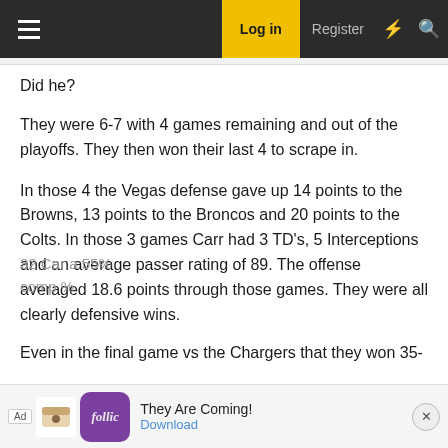Log in  Register
Did he?
They were 6-7 with 4 games remaining and out of the playoffs. They then won their last 4 to scrape in.
In those 4 the Vegas defense gave up 14 points to the Browns, 13 points to the Broncos and 20 points to the Colts. In those 3 games Carr had 3 TD's, 5 Interceptions and an average passer rating of 89. The offense averaged 18.6 points through those games. They were all clearly defensive wins.
Even in the final game vs the Chargers that they won 35-
32 Car... a 55% comp %...
[Figure (screenshot): Advertisement banner for Follic app with text 'They Are Coming!' and Download button]